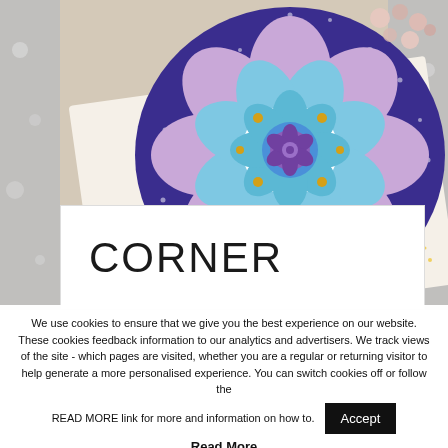[Figure (photo): A painted mandala stone with blue, purple and teal flower design with gold dots, resting on an open book with German text. Brand watermark 'Hattifant' visible in bottom right. Decorative beads and gold glitter bowl visible around the stone.]
CORNER
We use cookies to ensure that we give you the best experience on our website. These cookies feedback information to our analytics and advertisers. We track views of the site - which pages are visited, whether you are a regular or returning visitor to help generate a more personalised experience. You can switch cookies off or follow the READ MORE link for more and information on how to.
Read More